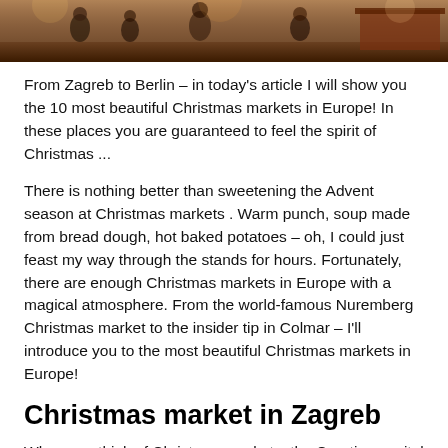[Figure (photo): Partial view of a Christmas market scene showing people browsing stalls, warm indoor lighting, wooden structures visible at top of page]
From Zagreb to Berlin – in today's article I will show you the 10 most beautiful Christmas markets in Europe! In these places you are guaranteed to feel the spirit of Christmas ...
There is nothing better than sweetening the Advent season at Christmas markets . Warm punch, soup made from bread dough, hot baked potatoes – oh, I could just feast my way through the stands for hours. Fortunately, there are enough Christmas markets in Europe with a magical atmosphere. From the world-famous Nuremberg Christmas market to the insider tip in Colmar – I'll introduce you to the most beautiful Christmas markets in Europe!
Christmas market in Zagreb
When you think of Christmas markets, the Croatian capital Zagreb may not immediately come to mind. The small town is